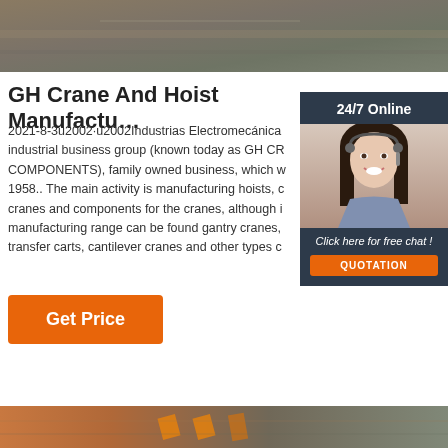[Figure (photo): Top banner photo of a grey/brown industrial floor or surface texture]
GH Crane And Hoist Manufactu…
2021-8-3u2002·u2002Industrias Electromecánica industrial business group (known today as GH CR COMPONENTS), family owned business, which w 1958.. The main activity is manufacturing hoists, c cranes and components for the cranes, although i manufacturing range can be found gantry cranes, transfer carts, cantilever cranes and other types c
[Figure (photo): Sidebar with 24/7 Online label, photo of customer service woman wearing headset and smiling, and Click here for free chat / QUOTATION button]
Get Price
[Figure (photo): Bottom banner photo of industrial floor with orange markings]